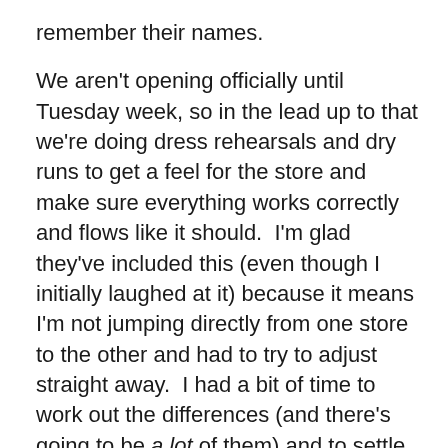remember their names.
We aren't opening officially until Tuesday week, so in the lead up to that we're doing dress rehearsals and dry runs to get a feel for the store and make sure everything works correctly and flows like it should.  I'm glad they've included this (even though I initially laughed at it) because it means I'm not jumping directly from one store to the other and had to try to adjust straight away.  I had a bit of time to work out the differences (and there's going to be a lot of them) and to settle into the new team.